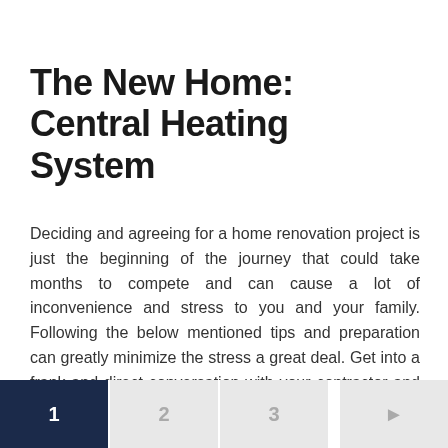The New Home: Central Heating System
Deciding and agreeing for a home renovation project is just the beginning of the journey that could take months to compete and can cause a lot of inconvenience and stress to you and your family. Following the below mentioned tips and preparation can greatly minimize the stress a great deal. Get into a frank and direct conversation with your contractor and get a frank estimate of both time and budget.
1  2  3  ►